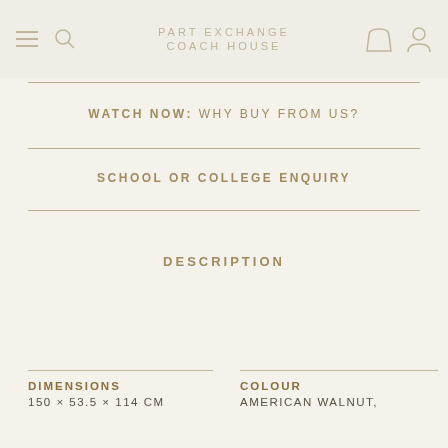PART EXCHANGE COACH HOUSE
WATCH NOW: WHY BUY FROM US?
SCHOOL OR COLLEGE ENQUIRY
DESCRIPTION
DIMENSIONS
150 × 53.5 × 114 CM
COLOUR
AMERICAN WALNUT,